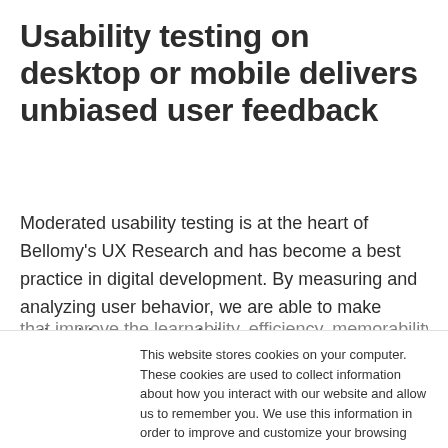Usability testing on desktop or mobile delivers unbiased user feedback
Moderated usability testing is at the heart of Bellomy's UX Research and has become a best practice in digital development. By measuring and analyzing user behavior, we are able to make actionable recommendations that improve the learnability, efficiency, memorability, and
This website stores cookies on your computer. These cookies are used to collect information about how you interact with our website and allow us to remember you. We use this information in order to improve and customize your browsing experience and for analytics and metrics about our visitors both on this website and other media. To find out more about the cookies we use, see our Privacy Policy.